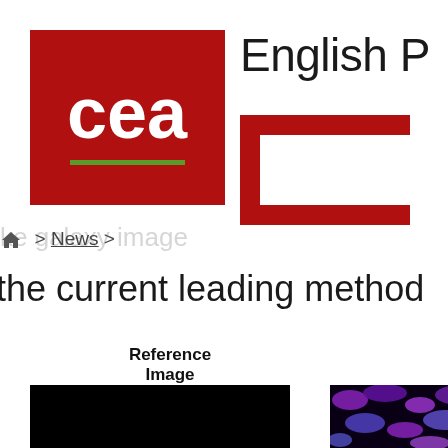[Figure (logo): CEA logo: red square background with white 'cea' text and green underline]
English P
[Figure (logo): Partial red block-letter C logo (right side cropped)]
[Figure (screenshot): Breadcrumb navigation: home icon > News > [ghost text: 'ke galaxy image']]
the current leading method
Reference Image
Observed Image
[Figure (photo): Reference image: solid black square]
[Figure (photo): Observed image: purple and blue noisy/textured pattern on black background]